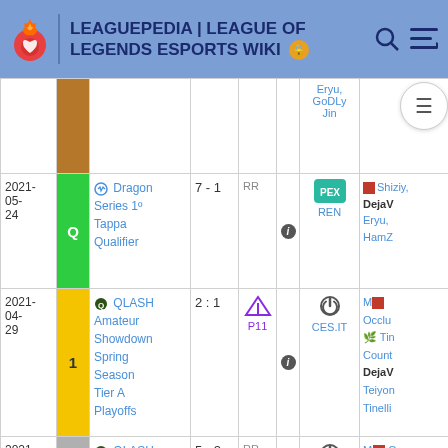LEAGUEPEDIA | LEAGUE OF LEGENDS ESPORTS WIKI
| Date | Place | Tournament | Score | Phase | Info | Opponent | Players |
| --- | --- | --- | --- | --- | --- | --- | --- |
|  |  |  |  |  |  | Eryu, GoDLy, Jin |  |
| 2021-05-24 | Q | Dragon Series 1º Tappa Qualifier | 7 - 1 | RR | i | REN | Shiziy, DejaVu, Eryu, HamZ |
| 2021-04-29 | 1 | QLASH Amateur Showdown Spring Season Tier A Playoffs | 2 : 1 | P11 | i | CES.IT | M, Occlu, Tin, Count, DejaVu, Teiyon, Tinelli |
| 2021-04-22 | 2 | QLASH Amateur Showdown Spring ... | 5 - 2 | RR | i | CES.IT | Cou, Occlu, Ti |